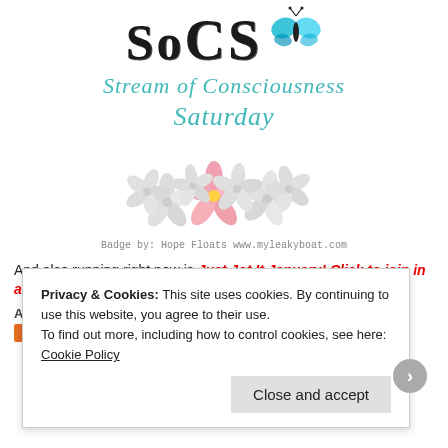[Figure (logo): SoCS logo with stylized hand-drawn text 'SoCS' in dark letters, a cyan/blue butterfly to the right, subtitle 'Stream of Consciousness Saturday' in teal italic script, and a cluster of plumeria/frangipani flowers (grayscale with one pink flower in center)]
Badge by: Hope Floats www.myleakyboat.com
And also running right now is Just Jot It January! Click to join in any time!
Advertisements
Privacy & Cookies: This site uses cookies. By continuing to use this website, you agree to their use.
To find out more, including how to control cookies, see here: Cookie Policy
Close and accept